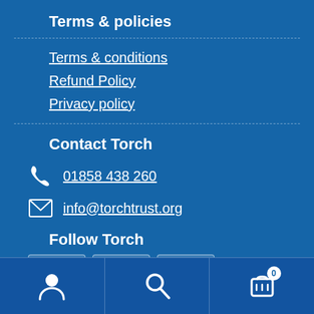Terms & policies
Terms & conditions
Refund Policy
Privacy policy
Contact Torch
01858 438 260
info@torchtrust.org
Follow Torch
User icon | Search icon | Cart icon with badge 0